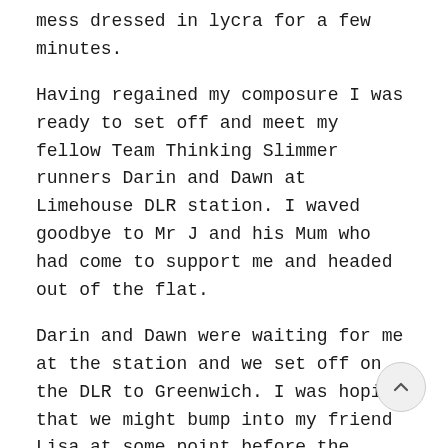mess dressed in lycra for a few minutes.
Having regained my composure I was ready to set off and meet my fellow Team Thinking Slimmer runners Darin and Dawn at Limehouse DLR station. I waved goodbye to Mr J and his Mum who had come to support me and headed out of the flat.
Darin and Dawn were waiting for me at the station and we set off on the DLR to Greenwich. I was hoping that we might bump into my friend Lisa at some point before the start and as luck would have it she was standing right outside Greenwich DLR station when we arrived. We all walked up towards the Red Start together. Walking through Greenwich Park it all star to become very real. Hundreds, thousands of other people getting ready to take on the 26.2 miles.